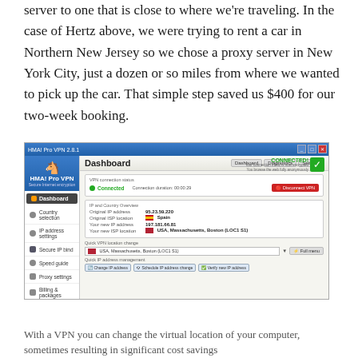server to one that is close to where we're traveling. In the case of Hertz above, we were trying to rent a car in Northern New Jersey so we chose a proxy server in New York City, just a dozen or so miles from where we wanted to pick up the car. That simple step saved us $400 for our two-week booking.
[Figure (screenshot): Screenshot of HMA! Pro VPN 2.x application showing Dashboard with VPN connection status Connected, original IP location shown as Spain (with flag), new IP location shown as USA, Massachusetts, Boston. Two annotations with red arrows: 'Where we are' pointing to Spain, and 'Where the world thinks we are' pointing to USA Massachusetts Boston.]
With a VPN you can change the virtual location of your computer, sometimes resulting in significant cost savings